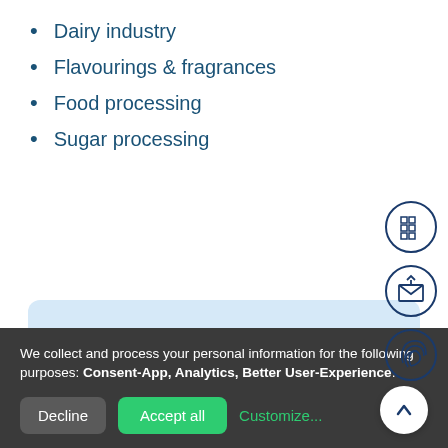Dairy industry
Flavourings & fragrances
Food processing
Sugar processing
[Figure (infographic): Three circular icon buttons on the right side: a grid/menu icon, an email/upload icon, and a fingerprint icon, all in dark blue outline style]
Our experts are here for you:
We collect and process your personal information for the following purposes: Consent-App, Analytics, Better User-Experience.
Decline  Accept all  Customize...